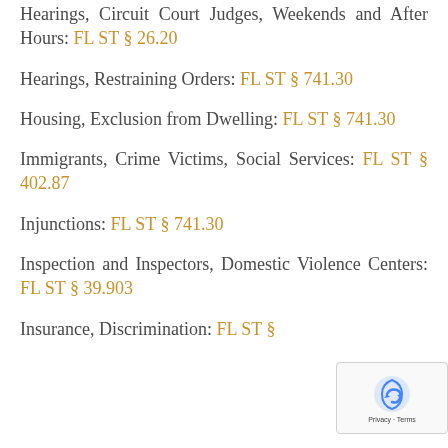Hearings, Circuit Court Judges, Weekends and After Hours: FL ST § 26.20
Hearings, Restraining Orders: FL ST § 741.30
Housing, Exclusion from Dwelling: FL ST § 741.30
Immigrants, Crime Victims, Social Services: FL ST § 402.87
Injunctions: FL ST § 741.30
Inspection and Inspectors, Domestic Violence Centers: FL ST § 39.903
Insurance, Discrimination: FL ST §